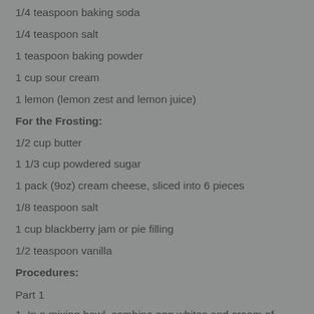1/4 teaspoon baking soda
1/4 teaspoon salt
1 teaspoon baking powder
1 cup sour cream
1 lemon (lemon zest and lemon juice)
For the Frosting:
1/2 cup butter
1 1/3 cup powdered sugar
1 pack (9oz) cream cheese, sliced into 6 pieces
1/8 teaspoon salt
1 cup blackberry jam or pie filling
1/2 teaspoon vanilla
Procedures:
Part 1
1. In a mixing bowl, combine egg whites and cream of tartar and mix with hand mixer until stiff peaks form. Set aside.
2. Using a stand mixer, mix the butter, vegetable oil, and sugar until well combined. Set aside.